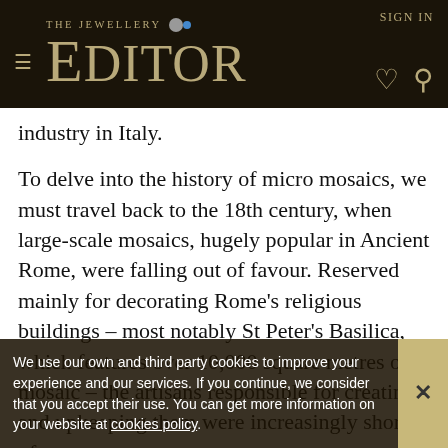THE JEWELLERY EDITOR — navigation bar with SIGN IN, hamburger menu, heart and search icons
industry in Italy.
To delve into the history of micro mosaics, we must travel back to the 18th century, when large-scale mosaics, hugely popular in Ancient Rome, were falling out of favour. Reserved mainly for decorating Rome's religious buildings – most notably St Peter's Basilica, which features over 10,000 square metres of mosaic – the artisans responsible for creating and upkeeping them were increasingly short of
We use our own and third party cookies to improve your experience and our services. If you continue, we consider that you accept their use. You can get more information on your website at cookies policy.